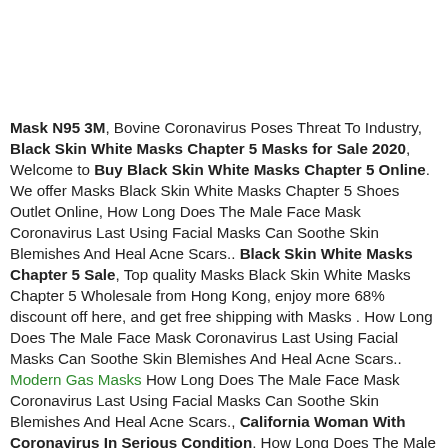Mask N95 3M, Bovine Coronavirus Poses Threat To Industry, Black Skin White Masks Chapter 5 Masks for Sale 2020, Welcome to Buy Black Skin White Masks Chapter 5 Online. We offer Masks Black Skin White Masks Chapter 5 Shoes Outlet Online, How Long Does The Male Face Mask Coronavirus Last Using Facial Masks Can Soothe Skin Blemishes And Heal Acne Scars.. Black Skin White Masks Chapter 5 Sale, Top quality Masks Black Skin White Masks Chapter 5 Wholesale from Hong Kong, enjoy more 68% discount off here, and get free shipping with Masks . How Long Does The Male Face Mask Coronavirus Last Using Facial Masks Can Soothe Skin Blemishes And Heal Acne Scars.. Modern Gas Masks How Long Does The Male Face Mask Coronavirus Last Using Facial Masks Can Soothe Skin Blemishes And Heal Acne Scars., California Woman With Coronavirus In Serious Condition, How Long Does The Male Face Mask Coronavirus Last Using Facial Masks Can Soothe Skin Blemishes And Heal Acne Scars., How Long Does The Male Face Mask Coronavirus Last Using Facial Masks